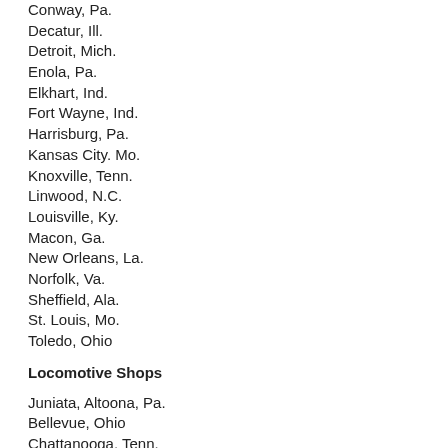Conway, Pa.
Decatur, Ill.
Detroit, Mich.
Enola, Pa.
Elkhart, Ind.
Fort Wayne, Ind.
Harrisburg, Pa.
Kansas City. Mo.
Knoxville, Tenn.
Linwood, N.C.
Louisville, Ky.
Macon, Ga.
New Orleans, La.
Norfolk, Va.
Sheffield, Ala.
St. Louis, Mo.
Toledo, Ohio
Locomotive Shops
Juniata, Altoona, Pa.
Bellevue, Ohio
Chattanooga, Tenn.
Conway, Pa.
Enola, Pa.
Elkhart, Ind.